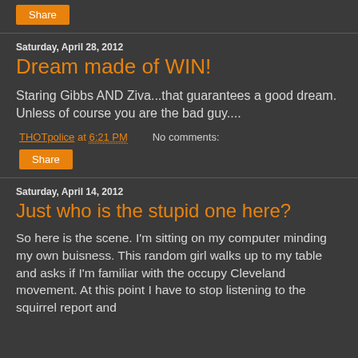[Figure (other): Share button (orange button with white text 'Share')]
Saturday, April 28, 2012
Dream made of WIN!
Staring Gibbs AND Ziva...that guarantees a good dream. Unless of course you are the bad guy....
THOTpolice at 6:21 PM   No comments:
[Figure (other): Share button (orange button with white text 'Share')]
Saturday, April 14, 2012
Just who is the stupid one here?
So here is the scene. I'm sitting on my computer minding my own buisness. This random girl walks up to my table and asks if I'm familiar with the occupy Cleveland movement. At this point I have to stop listening to the squirrel report and